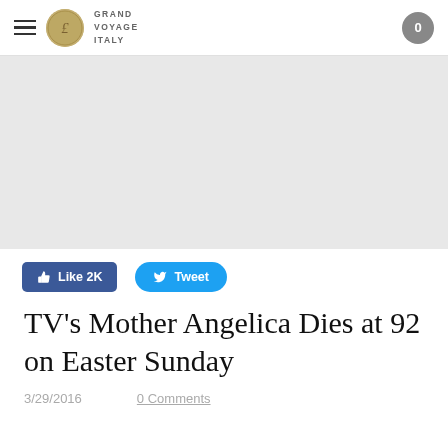Grand Voyage Italy — navigation header with hamburger menu, logo, and cart button showing 0
[Figure (other): Gray advertisement placeholder area]
Like 2K   Tweet
TV's Mother Angelica Dies at 92 on Easter Sunday
3/29/2016     0 Comments